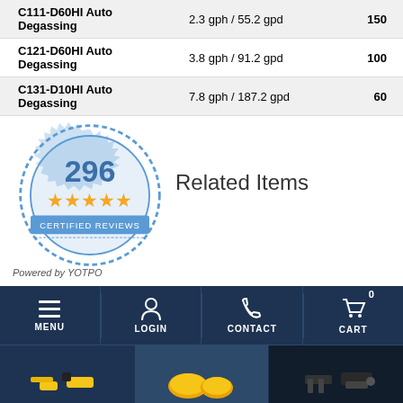| Product | Flow Rate | Value |
| --- | --- | --- |
| C111-D60HI Auto Degassing | 2.3 gph / 55.2 gpd | 150 |
| C121-D60HI Auto Degassing | 3.8 gph / 91.2 gpd | 100 |
| C131-D10HI Auto Degassing | 7.8 gph / 187.2 gpd | 60 |
[Figure (logo): 296 certified reviews badge with 5 stars, powered by YOTPO]
Powered by YOTPO
Related Items
USD
MENU LOGIN CONTACT CART 0